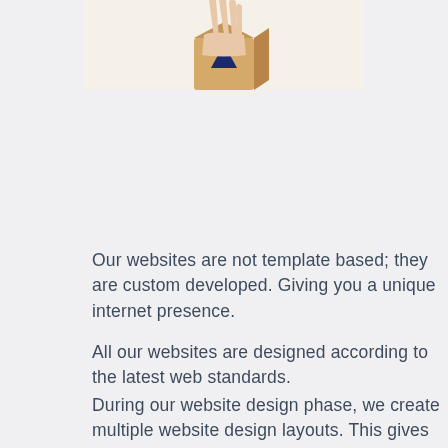[Figure (photo): A hand holding a small wooden block with a dark blue triangle painted on it, against a light cream/beige background. Only the bottom portion of the image is visible.]
Our websites are not template based; they are custom developed. Giving you a unique internet presence.
All our websites are designed according to the latest web standards.
During our website design phase, we create multiple website design layouts. This gives you the opportunity to decide which website best represents your company, rather than just being given a